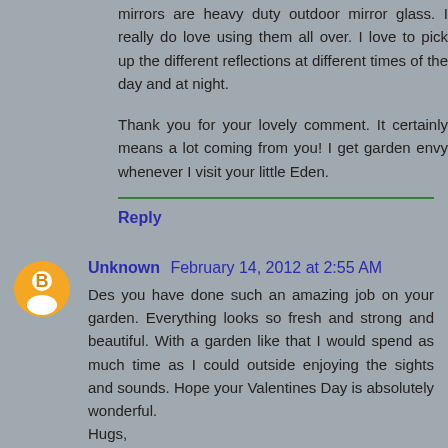mirrors are heavy duty outdoor mirror glass. I really do love using them all over. I love to pick up the different reflections at different times of the day and at night.
Thank you for your lovely comment. It certainly means a lot coming from you! I get garden envy whenever I visit your little Eden.
Reply
Unknown February 14, 2012 at 2:55 AM
Des you have done such an amazing job on your garden. Everything looks so fresh and strong and beautiful. With a garden like that I would spend as much time as I could outside enjoying the sights and sounds. Hope your Valentines Day is absolutely wonderful.
Hugs,
Odie
Reply